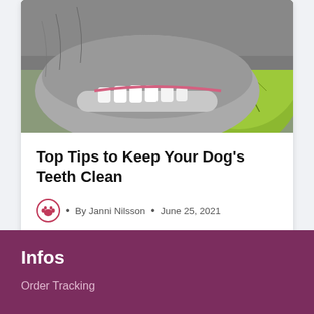[Figure (photo): Close-up photo of a dog's teeth biting into a green tennis ball, showing white teeth and gray fur]
Top Tips to Keep Your Dog's Teeth Clean
• By Janni Nilsson • June 25, 2021
Read More →
Infos
Order Tracking